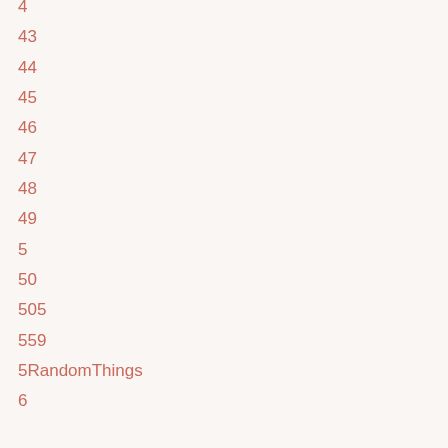4
43
44
45
46
47
48
49
5
50
505
559
5RandomThings
6